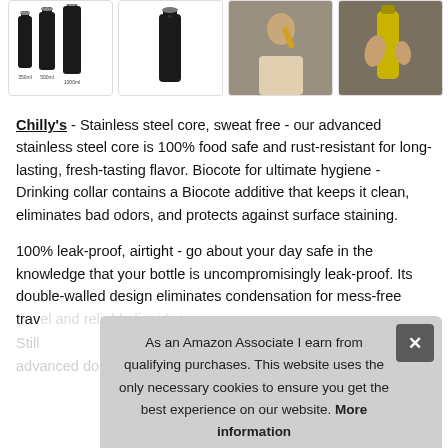[Figure (photo): Four product images in a horizontal strip: three black Chilly's bottles (350ml, 500ml, 1000ml), a single black bottle, a woman drinking from a yellow bottle, and hands opening a yellow bottle.]
Chilly's - Stainless steel core, sweat free - our advanced stainless steel core is 100% food safe and rust-resistant for long-lasting, fresh-tasting flavor. Biocote for ultimate hygiene - Drinking collar contains a Biocote additive that keeps it clean, eliminates bad odors, and protects against surface staining.
100% leak-proof, airtight - go about your day safe in the knowledge that your bottle is uncompromisingly leak-proof. Its double-walled design eliminates condensation for mess-free trav...
Still... temperature, our advanced double-walled vacuum insulation
As an Amazon Associate I earn from qualifying purchases. This website uses the only necessary cookies to ensure you get the best experience on our website. More information